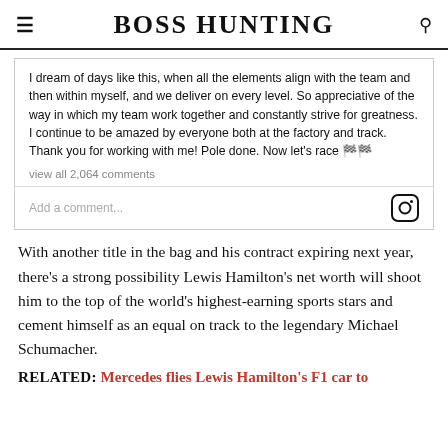BOSS HUNTING
[Figure (screenshot): Instagram embed with post text: 'I dream of days like this, when all the elements align with the team and then within myself, and we deliver on every level. So appreciative of the way in which my team work together and constantly strive for greatness. I continue to be amazed by everyone both at the factory and track. Thank you for working with me! Pole done. Now let's race 🏁🏁' with 'view all 2,064 comments' link and 'Add a comment...' input with Instagram icon.]
With another title in the bag and his contract expiring next year, there's a strong possibility Lewis Hamilton's net worth will shoot him to the top of the world's highest-earning sports stars and cement himself as an equal on track to the legendary Michael Schumacher.
RELATED: Mercedes flies Lewis Hamilton's F1 car to